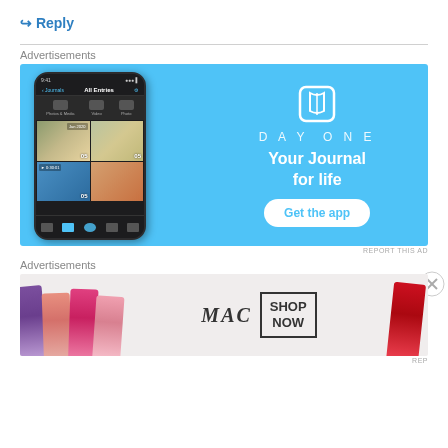↳ Reply
Advertisements
[Figure (illustration): DayOne journal app advertisement on light blue background showing phone mockup with journal entries and photos, with brand logo, tagline 'Your Journal for life', and 'Get the app' button]
REPORT THIS AD
Advertisements
[Figure (illustration): MAC cosmetics advertisement banner showing colorful lipsticks on left and right, MAC logo in center, and SHOP NOW box]